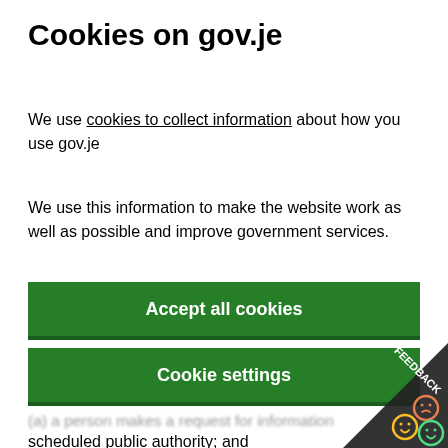Cookies on gov.je
We use cookies to collect information about how you use gov.je
We use this information to make the website work as well as possible and improve government services.
Accept all cookies
Cookie settings
(a) a person makes a request for information to a scheduled public authority; and
(b) the authority does not hold the information, it must inform the applicant accordingly.